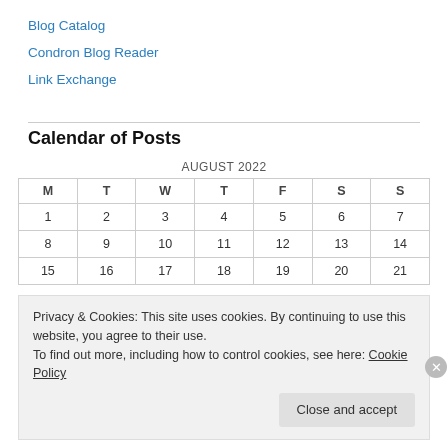Blog Catalog
Condron Blog Reader
Link Exchange
Calendar of Posts
| M | T | W | T | F | S | S |
| --- | --- | --- | --- | --- | --- | --- |
| 1 | 2 | 3 | 4 | 5 | 6 | 7 |
| 8 | 9 | 10 | 11 | 12 | 13 | 14 |
| 15 | 16 | 17 | 18 | 19 | 20 | 21 |
Privacy & Cookies: This site uses cookies. By continuing to use this website, you agree to their use.
To find out more, including how to control cookies, see here: Cookie Policy